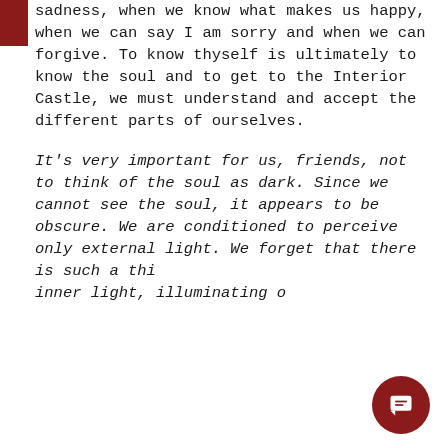sadness, when we know what makes us happy, when we can say I am sorry and when we can forgive. To know thyself is ultimately to know the soul and to get to the Interior Castle, we must understand and accept the different parts of ourselves.
It's very important for us, friends, not to think of the soul as dark. Since we cannot see the soul, it appears to be obscure. We are conditioned to perceive only external light. We forget that there is such a thing as inner light, illuminating our